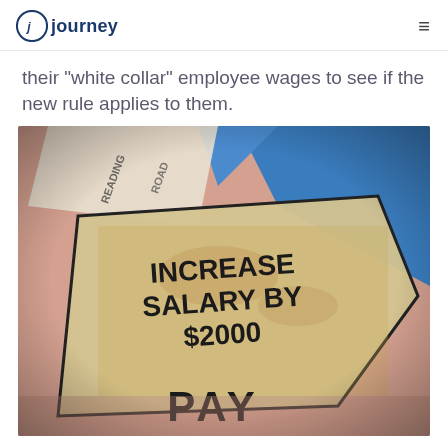journey
their "white collar" employee wages to see if the new rule applies to them.
[Figure (photo): Close-up photograph of a Monopoly board game card reading 'INCREASE SALARY BY $2000' over a pink board section labeled 'PAY', with blue game board sections visible in the background.]